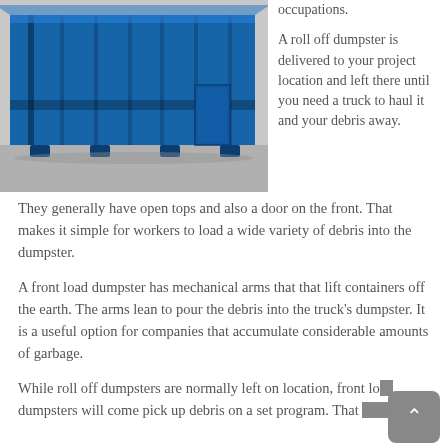[Figure (photo): Blue roll-off dumpster containers photographed from the side, showing the ribbed metal walls and legs at the base.]
occupations.
A roll off dumpster is delivered to your project location and left there until you need a truck to haul it and your debris away. They generally have open tops and also a door on the front. That makes it simple for workers to load a wide variety of debris into the dumpster.
A front load dumpster has mechanical arms that that lift containers off the earth. The arms lean to pour the debris into the truck's dumpster. It is a useful option for companies that accumulate considerable amounts of garbage.
While roll off dumpsters are normally left on location, front load dumpsters will come pick up debris on a set program. That makes